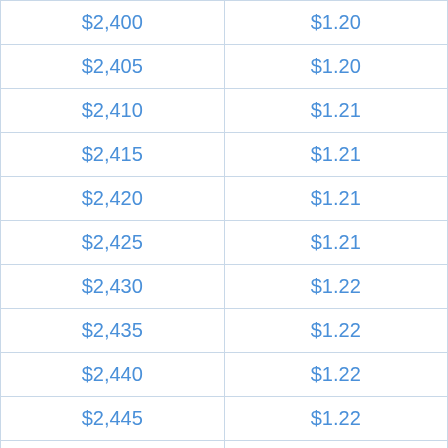| $2,400 | $1.20 |
| $2,405 | $1.20 |
| $2,410 | $1.21 |
| $2,415 | $1.21 |
| $2,420 | $1.21 |
| $2,425 | $1.21 |
| $2,430 | $1.22 |
| $2,435 | $1.22 |
| $2,440 | $1.22 |
| $2,445 | $1.22 |
| $2,450 | $1.23 |
| $2,455 | $1.23 |
| $2,460 | $1.23 |